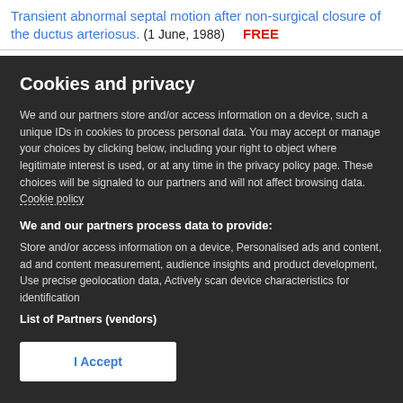Transient abnormal septal motion after non-surgical closure of the ductus arteriosus. (1 June, 1988) FREE
Cookies and privacy
We and our partners store and/or access information on a device, such a unique IDs in cookies to process personal data. You may accept or manage your choices by clicking below, including your right to object where legitimate interest is used, or at any time in the privacy policy page. These choices will be signaled to our partners and will not affect browsing data. Cookie policy
We and our partners process data to provide:
Store and/or access information on a device, Personalised ads and content, ad and content measurement, audience insights and product development, Use precise geolocation data, Actively scan device characteristics for identification
List of Partners (vendors)
I Accept